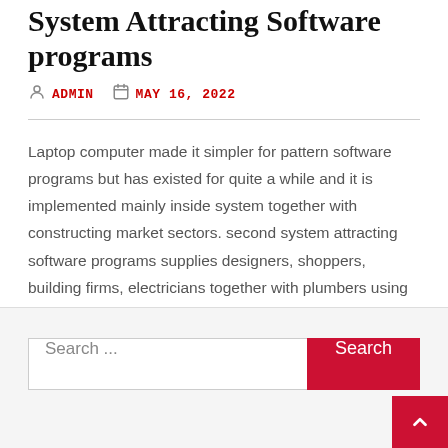System Attracting Software programs
ADMIN   MAY 16, 2022
Laptop computer made it simpler for pattern software programs but has existed for quite a while and it is implemented mainly inside system together with constructing market sectors. second system attracting software programs supplies designers, shoppers, building firms, electricians together with plumbers using several positive aspects to produce their own work opportunities better together with [...]